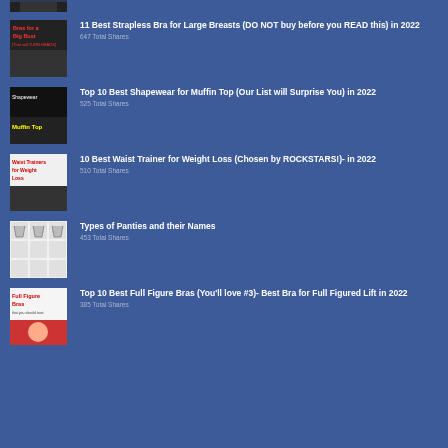[Figure (photo): Partial thumbnail of woman at top of page]
11 Best Strapless Bra for Large Breasts (DO NOT buy before you READ this) in 2022
647 Total Shares
Top 10 Best Shapewear for Muffin Top (Our List will Surprise You) in 2022
525 Total Shares
10 Best Waist Trainer for Weight Loss (Chosen by ROCKSTARS!)- in 2022
510 Total Shares
Types of Panties and their Names
453 Total Shares
Top 10 Best Full Figure Bras (You'll love #3)- Best Bra for Full Figured Lift in 2022
385 Total Shares